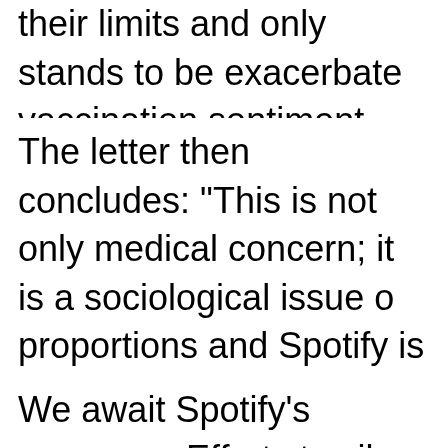their limits and only stands to be exacerbated by the anti-vaccination sentiment woven into this and other episodes of Rogan's podcast".
The letter then concludes: "This is not only a medical concern; it is a sociological issue of enormous proportions and Spotify is responsible for allowing this activity to thrive on its platform. We, the undersigned doctors, nurses, scientists, and educators therefore demand Spotify to immediately establish a clear and effective policy to moderate misinformation on its platform".
We await Spotify's response. Efforts to silence critics always lead to claims of censorship, and this, which puts Spotify in a tricky position, especially when working with a personality whose mass app...